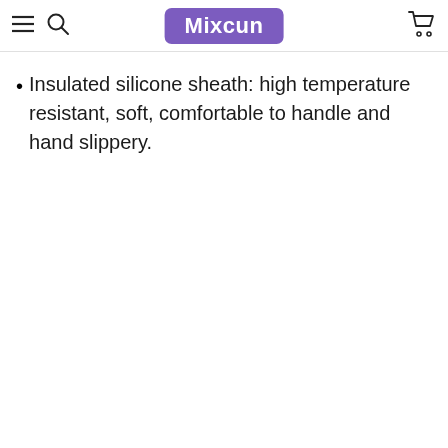Mixcun
Insulated silicone sheath: high temperature resistant, soft, comfortable to handle and hand slippery.